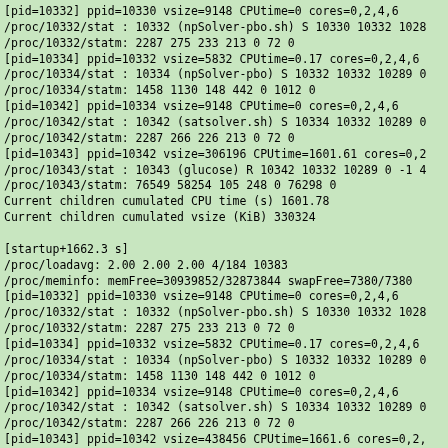[pid=10332] ppid=10330 vsize=9148 CPUtime=0 cores=0,2,4,6
/proc/10332/stat : 10332 (npSolver-pbo.sh) S 10330 10332 1028
/proc/10332/statm: 2287 275 233 213 0 72 0
[pid=10334] ppid=10332 vsize=5832 CPUtime=0.17 cores=0,2,4,6
/proc/10334/stat : 10334 (npSolver-pbo) S 10332 10332 10289 0
/proc/10334/statm: 1458 1130 148 442 0 1012 0
[pid=10342] ppid=10334 vsize=9148 CPUtime=0 cores=0,2,4,6
/proc/10342/stat : 10342 (satsolver.sh) S 10334 10332 10289 0
/proc/10342/statm: 2287 266 226 213 0 72 0
[pid=10343] ppid=10342 vsize=306196 CPUtime=1601.61 cores=0,2
/proc/10343/stat : 10343 (glucose) R 10342 10332 10289 0 -1 4
/proc/10343/statm: 76549 58254 105 248 0 76298 0
Current children cumulated CPU time (s) 1601.78
Current children cumulated vsize (KiB) 330324

[startup+1662.3 s]
/proc/loadavg: 2.00 2.00 2.00 4/184 10383
/proc/meminfo: memFree=30939852/32873844 swapFree=7380/7380
[pid=10332] ppid=10330 vsize=9148 CPUtime=0 cores=0,2,4,6
/proc/10332/stat : 10332 (npSolver-pbo.sh) S 10330 10332 1028
/proc/10332/statm: 2287 275 233 213 0 72 0
[pid=10334] ppid=10332 vsize=5832 CPUtime=0.17 cores=0,2,4,6
/proc/10334/stat : 10334 (npSolver-pbo) S 10332 10332 10289 0
/proc/10334/statm: 1458 1130 148 442 0 1012 0
[pid=10342] ppid=10334 vsize=9148 CPUtime=0 cores=0,2,4,6
/proc/10342/stat : 10342 (satsolver.sh) S 10334 10332 10289 0
/proc/10342/statm: 2287 266 226 213 0 72 0
[pid=10343] ppid=10342 vsize=438456 CPUtime=1661.6 cores=0,2,
/proc/10343/stat : 10343 (glucose) R 10342 10332 10289 0 -1 4
/proc/10343/statm: 109614 82783 105 248 0 109363 0
Current children cumulated CPU time (s) 1661.77
Current children cumulated vsize (KiB) 462584